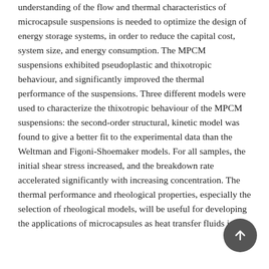understanding of the flow and thermal characteristics of microcapsule suspensions is needed to optimize the design of energy storage systems, in order to reduce the capital cost, system size, and energy consumption. The MPCM suspensions exhibited pseudoplastic and thixotropic behaviour, and significantly improved the thermal performance of the suspensions. Three different models were used to characterize the thixotropic behaviour of the MPCM suspensions: the second-order structural, kinetic model was found to give a better fit to the experimental data than the Weltman and Figoni-Shoemaker models. For all samples, the initial shear stress increased, and the breakdown rate accelerated significantly with increasing concentration. The thermal performance and rheological properties, especially the selection of rheological models, will be useful for developing the applications of microcapsules as heat transfer fluids in